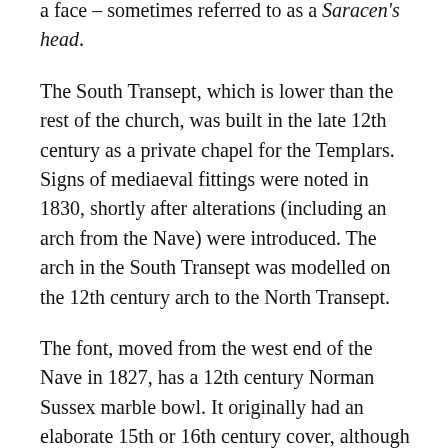a face – sometimes referred to as a Saracen's head.
The South Transept, which is lower than the rest of the church, was built in the late 12th century as a private chapel for the Templars. Signs of mediaeval fittings were noted in 1830, shortly after alterations (including an arch from the Nave) were introduced. The arch in the South Transept was modelled on the 12th century arch to the North Transept.
The font, moved from the west end of the Nave in 1827, has a 12th century Norman Sussex marble bowl. It originally had an elaborate 15th or 16th century cover, although this has now been lost.
The porch was added in the 16th century using 14th century materials, possibly from a former chapel. The bargeboard (to strengthen the roof) is a 14th century design, although it has been renewed.